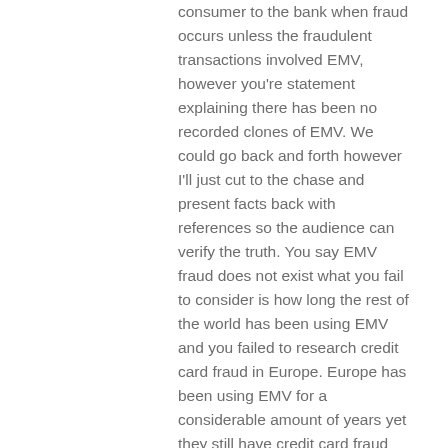consumer to the bank when fraud occurs unless the fraudulent transactions involved EMV, however you're statement explaining there has been no recorded clones of EMV. We could go back and forth however I'll just cut to the chase and present facts back with references so the audience can verify the truth. You say EMV fraud does not exist what you fail to consider is how long the rest of the world has been using EMV and you failed to research credit card fraud in Europe. Europe has been using EMV for a considerable amount of years yet they still have credit card fraud along with Africa which is has the highest amount of fraud recorded in the world. Let's just look at this with our common sense without considering the numbers of the bankers say all cloning fraud will be eliminated with EMV yet years after countries like Europe and Africa have adopted EMV credit card fraud still exist and is being recorded. The only thing EMV changed is the bank compensating fraudulent transactions. There is not any added layer of security within EMVvs Mag strip, cloning fraud has not been eliminated google pre play attacks, and once again the consumer has been gotten the short end of the stick while the politicians